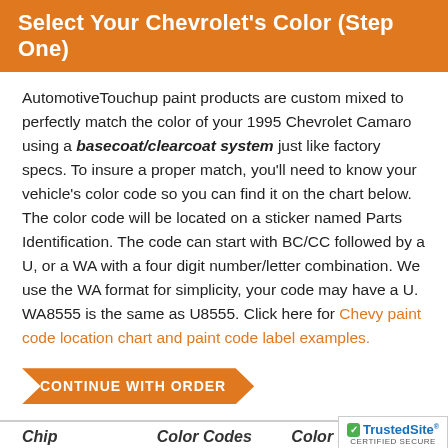Select Your Chevrolet's Color (Step One)
AutomotiveTouchup paint products are custom mixed to perfectly match the color of your 1995 Chevrolet Camaro using a basecoat/clearcoat system just like factory specs. To insure a proper match, you'll need to know your vehicle's color code so you can find it on the chart below. The color code will be located on a sticker named Parts Identification. The code can start with BC/CC followed by a U, or a WA with a four digit number/letter combination. We use the WA format for simplicity, your code may have a U. WA8555 is the same as U8555. Click here for Chevy paint code location chart and paint code label examples.
CONTINUE WITH ORDER
| Chip | Color Codes | Color Descript |
| --- | --- | --- |